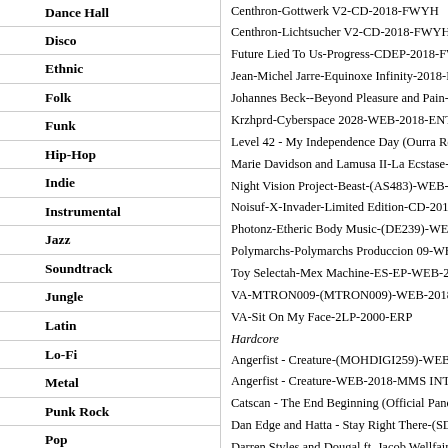Dance Hall
Disco
Ethnic
Folk
Funk
Hip-Hop
Indie
Instrumental
Jazz
Soundtrack
Jungle
Latin
Lo-Fi
Metal
Punk Rock
Pop
Psychedelic
R&B
Rap
Rock
VOTING
Centhron-Gottwerk V2-CD-2018-FWYH
Centhron-Lichtsucher V2-CD-2018-FWYH
Future Lied To Us-Progress-CDEP-2018-FWYH
Jean-Michel Jarre-Equinoxe Infinity-2018-NOiR
Johannes Beck--Beyond Pleasure and Pain-(KAN
Krzhprd-Cyberspace 2028-WEB-2018-ENTiTLED
Level 42 - My Independence Day (Ourra Remix)-
Marie Davidson and Lamusa II-La Ecstase-(ZEN
Night Vision Project-Beast-(AS483)-WEB-2018-
Noisuf-X-Invader-Limited Edition-CD-2018-FW
Photonz-Etheric Body Music-(DE239)-WEB-201
Polymarchs-Polymarchs Produccion 09-WEB-20
Toy Selectah-Mex Machine-ES-EP-WEB-2011-F
VA-MTRON009-(MTRON009)-WEB-2018-ENS
VA-Sit On My Face-2LP-2000-ERP
Hardcore
Angerfist - Creature-(MOHDIGI259)-WEB-2018
Angerfist - Creature-WEB-2018-MMS INT
Catscan - The End Beginning (Official Pandemo
Dan Edge and Hatta - Stay Right There-(SD149)-
Darren Styles and Dougal ft. Jacob Wellfair - Ho
Death Ray Vision-Negative Mental Attitude-WEB
Decimate The Living-Fueled By Hate-WEB-2018
Deny-Parasite Paradise-WEB-2018-ENTiTLED
DJ DMB Vol 1-(RRUKDMB